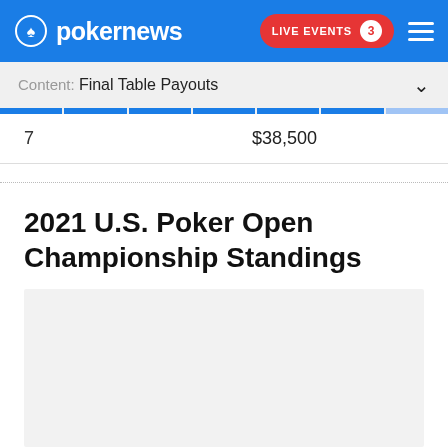pokernews — LIVE EVENTS 3
Content: Final Table Payouts
| Place | Payout |
| --- | --- |
| 7 | $38,500 |
2021 U.S. Poker Open Championship Standings
[Figure (other): Gray placeholder block for standings content]